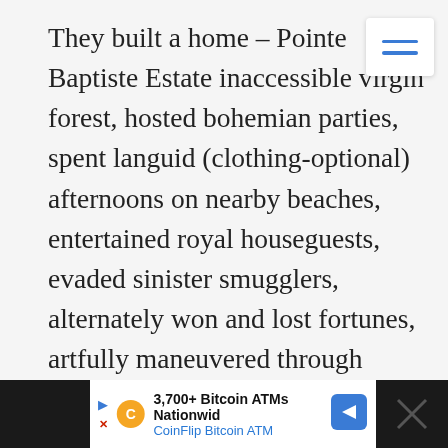They built a home – Pointe Baptiste Estate inaccessible virgin forest, hosted bohemian parties, spent languid (clothing-optional) afternoons on nearby beaches, entertained royal houseguests, evaded sinister smugglers, alternately won and lost fortunes, artfully maneuvered through political intrigue in the Dominica Legislative Council—the 30 years from the time of the couple's arrival in Dominica had all the makings of a page-turning novel.

So, Elma wrote one. Black and White Sands: A